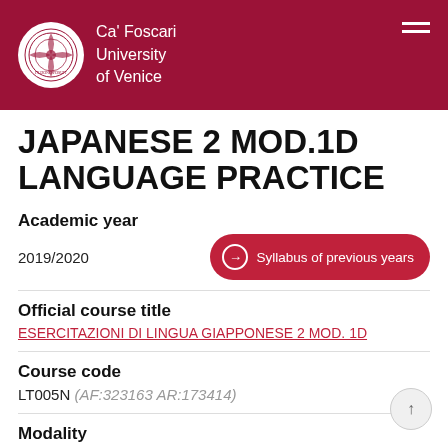Ca' Foscari University of Venice
JAPANESE 2 MOD.1D LANGUAGE PRACTICE
Academic year
2019/2020
Syllabus of previous years
Official course title
ESERCITAZIONI DI LINGUA GIAPPONESE 2 MOD. 1D
Course code
LT005N (AF:323163 AR:173414)
Modality